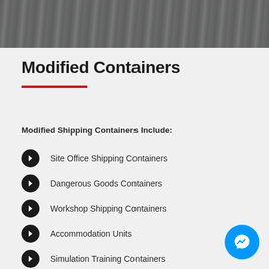[Figure (photo): Aerial or close-up photo of a grey gravel/asphalt surface at the top of the page]
Modified Containers
Modified Shipping Containers Include:
Site Office Shipping Containers
Dangerous Goods Containers
Workshop Shipping Containers
Accommodation Units
Simulation Training Containers
Lunch Room Shipping Containers
Ablution Block Containers